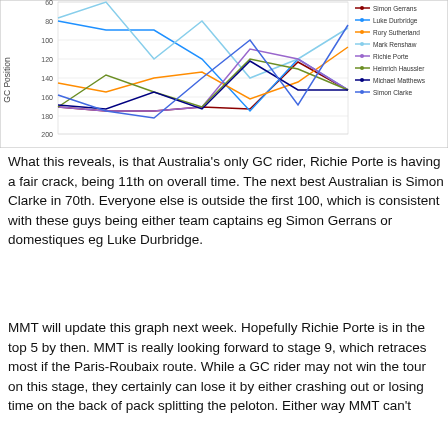[Figure (line-chart): GC Position of Australian riders by stage]
What this reveals, is that Australia's only GC rider, Richie Porte is having a fair crack, being 11th on overall time.  The next best Australian is Simon Clarke in 70th.  Everyone else is outside the first 100, which is consistent with these guys being either team captains eg Simon Gerrans or domestiques eg Luke Durbridge.
MMT will update this graph next week. Hopefully Richie Porte is in the top 5 by then.  MMT is really looking forward to stage 9, which retraces most if the Paris-Roubaix route.  While a GC rider may not win the tour on this stage, they certainly can lose it by either crashing out or losing time on the back of pack splitting the peloton.  Either way MMT can't